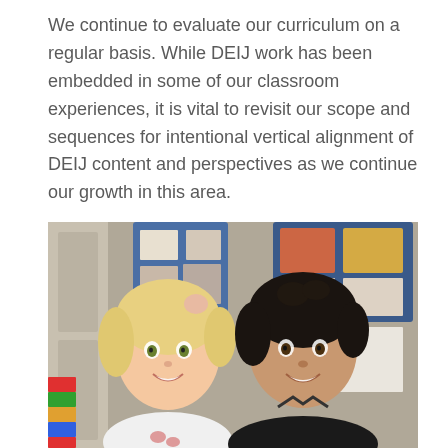We continue to evaluate our curriculum on a regular basis. While DEIJ work has been embedded in some of our classroom experiences, it is vital to revisit our scope and sequences for intentional vertical alignment of DEIJ content and perspectives as we continue our growth in this area.
[Figure (photo): Two young children smiling in a classroom — a blonde girl in a white t-shirt on the left and a dark-haired boy in a black jacket on the right. Classroom lockers, bulletin board displays, and colorful supplies visible in the background.]